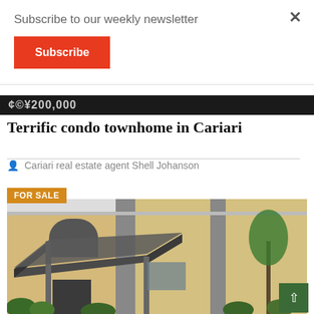Subscribe to our weekly newsletter
Subscribe
×
¢©¥200,000
Terrific condo townhome in Cariari
Cariari real estate agent Shell Johanson
[Figure (photo): Exterior photo of a two-story condo townhome with yellow/tan stucco walls, grey stone trim, arched windows, a covered carport canopy, and tropical greenery. A FOR SALE badge appears in the top-left corner.]